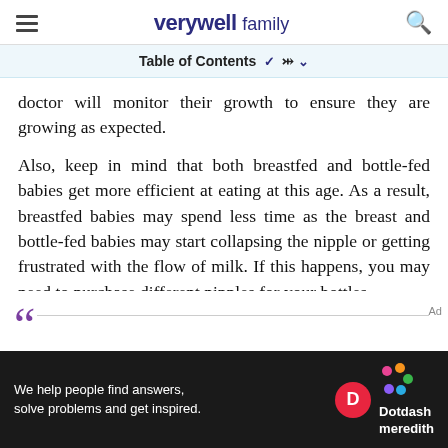verywell family
Table of Contents ˅
doctor will monitor their growth to ensure they are growing as expected.
Also, keep in mind that both breastfed and bottle-fed babies get more efficient at eating at this age. As a result, breastfed babies may spend less time as the breast and bottle-fed babies may start collapsing the nipple or getting frustrated with the flow of milk. If this happens, you may need to purchase different nipples for your bottles.
[Figure (other): Dotdash Meredith advertisement banner: 'We help people find answers, solve problems and get inspired.']